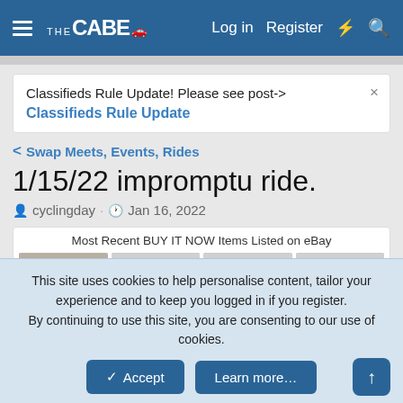THE CABE — Log in  Register
Classifieds Rule Update! Please see post-> Classifieds Rule Update
< Swap Meets, Events, Rides
1/15/22 impromptu ride.
cyclingday · Jan 16, 2022
[Figure (screenshot): Most Recent BUY IT NOW Items Listed on eBay — four thumbnail images of bicycle parts/rings]
This site uses cookies to help personalise content, tailor your experience and to keep you logged in if you register. By continuing to use this site, you are consenting to our use of cookies.